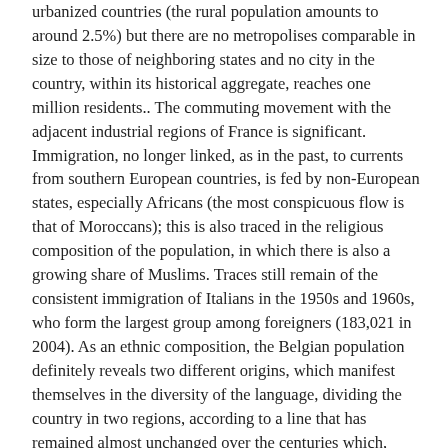urbanized countries (the rural population amounts to around 2.5%) but there are no metropolises comparable in size to those of neighboring states and no city in the country, within its historical aggregate, reaches one million residents.. The commuting movement with the adjacent industrial regions of France is significant. Immigration, no longer linked, as in the past, to currents from southern European countries, is fed by non-European states, especially Africans (the most conspicuous flow is that of Moroccans); this is also traced in the religious composition of the population, in which there is also a growing share of Muslims. Traces still remain of the consistent immigration of Italians in the 1950s and 1960s, who form the largest group among foreigners (183,021 in 2004). As an ethnic composition, the Belgian population definitely reveals two different origins, which manifest themselves in the diversity of the language, dividing the country in two regions, according to a line that has remained almost unchanged over the centuries which, from the Meuse downstream of Liège, looms in the W direction, passing to the South of Brussels, to end at the upper course of the Lys. AN of this line we speak Flemish (a Dutch dialect) and S speaking Wallonia (a French dialect spoken